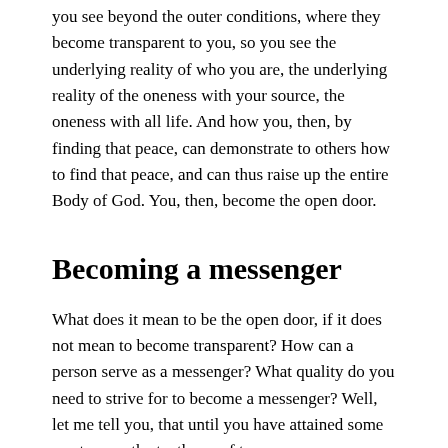you see beyond the outer conditions, where they become transparent to you, so you see the underlying reality of who you are, the underlying reality of the oneness with your source, the oneness with all life. And how you, then, by finding that peace, can demonstrate to others how to find that peace, and can thus raise up the entire Body of God. You, then, become the open door.
Becoming a messenger
What does it mean to be the open door, if it does not mean to become transparent? How can a person serve as a messenger? What quality do you need to strive for to become a messenger? Well, let me tell you, that until you have attained some mastery on the tenth ray of transparency, you cannot become a